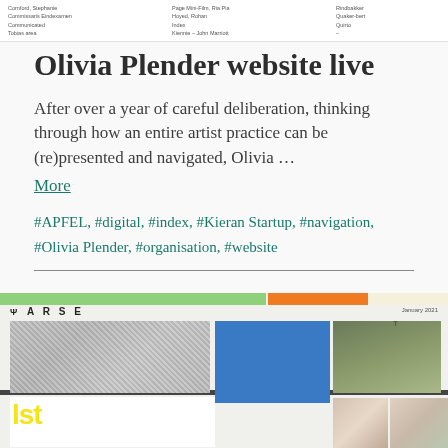Cornford, Stephanie / Commissaris Eindexamen / Communicated / Tobias area ... [cropped navigation menu]
Olivia Plender website live
After over a year of careful deliberation, thinking through how an entire artist practice can be (re)presented and navigated, Olivia …
More
#APFEL, #digital, #index, #Kieran Startup, #navigation, #Olivia Plender, #organisation, #website
[Figure (screenshot): Screenshot of PARSE journal website showing a colorful layout with a green and orange header bar, a blue rectangle overlapping a crowd photo on the left, a sculpture photo in the middle, and map/skin images on the right. Yellow bold text visible at the bottom left.]